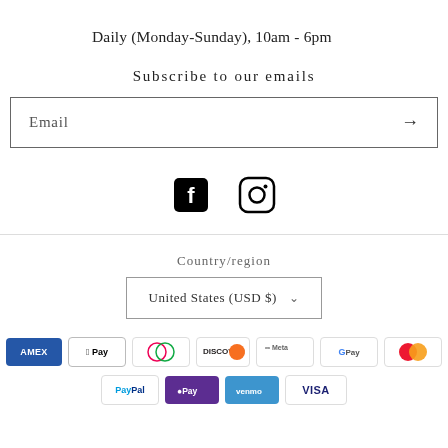Daily (Monday-Sunday), 10am - 6pm
Subscribe to our emails
Email →
[Figure (infographic): Facebook and Instagram social media icons side by side]
Country/region
United States (USD $) ∨
[Figure (infographic): Payment method logos: American Express, Apple Pay, Diners Club, Discover, Meta Pay, Google Pay, Mastercard, PayPal, Shop Pay, Venmo, Visa]